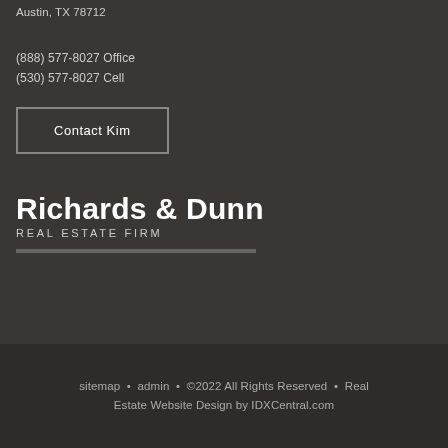Austin, TX 78712
(888) 577-8027 Office
(530) 577-8027 Cell
Contact Kim
Richards & Dunn
REAL ESTATE FIRM
sitemap • admin • ©2022 All Rights Reserved • Real Estate Website Design by IDXCentral.com